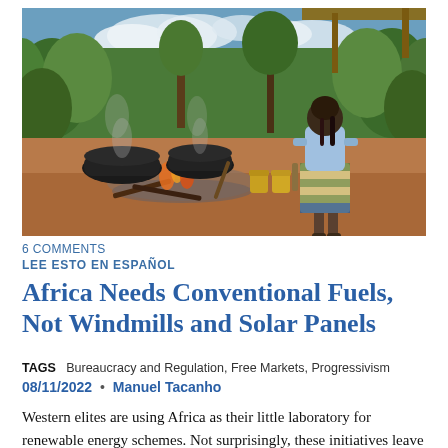[Figure (photo): A woman in a blue and plaid skirt stands near large black cast iron pots cooking over open wood fires on a dirt ground, surrounded by green vegetation and trees. Yellow kettles are visible nearby.]
6 COMMENTS
LEE ESTO EN ESPAÑOL
Africa Needs Conventional Fuels, Not Windmills and Solar Panels
TAGS   Bureaucracy and Regulation, Free Markets, Progressivism
08/11/2022  •  Manuel Tacanho
Western elites are using Africa as their little laboratory for renewable energy schemes. Not surprisingly, these initiatives leave